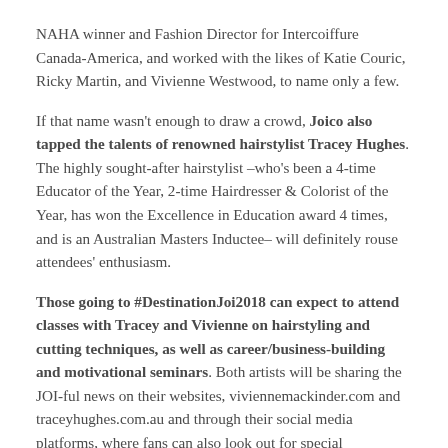NAHA winner and Fashion Director for Intercoiffure Canada-America, and worked with the likes of Katie Couric, Ricky Martin, and Vivienne Westwood, to name only a few.
If that name wasn't enough to draw a crowd, Joico also tapped the talents of renowned hairstylist Tracey Hughes. The highly sought-after hairstylist –who's been a 4-time Educator of the Year, 2-time Hairdresser & Colorist of the Year, has won the Excellence in Education award 4 times, and is an Australian Masters Inductee– will definitely rouse attendees' enthusiasm.
Those going to #DestinationJoi2018 can expect to attend classes with Tracey and Vivienne on hairstyling and cutting techniques, as well as career/business-building and motivational seminars. Both artists will be sharing the JOI-ful news on their websites, viviennemackinder.com and traceyhughes.com.au and through their social media platforms, where fans can also look out for special opportunities, like a chance to win an exclusive experience with Vivienne while at